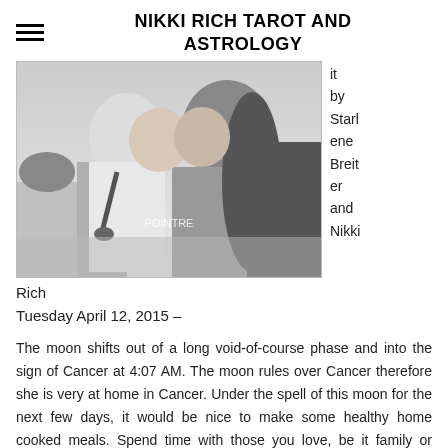NIKKI RICH TAROT AND ASTROLOGY
[Figure (photo): Black and white photo of a couple kissing outdoors, with the Eiffel Tower visible in the background. Text overlay reads 'POINTRE'.]
it by Starlene Breiter and Nikki Rich
Tuesday April 12, 2015 –
The moon shifts out of a long void-of-course phase and into the sign of Cancer at 4:07 AM. The moon rules over Cancer therefore she is very at home in Cancer. Under the spell of this moon for the next few days, it would be nice to make some healthy home cooked meals. Spend time with those you love, be it family or friends. Also enjoying our own "home" or place in the world is a great idea too.